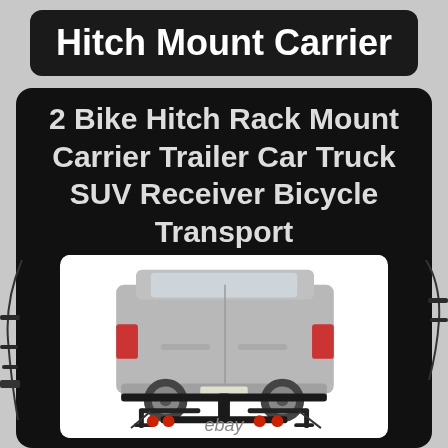Hitch Mount Carrier
2 Bike Hitch Rack Mount Carrier Trailer Car Truck SUV Receiver Bicycle Transport
[Figure (photo): Photo of a 2-bike hitch rack mount carrier attached to the rear of a silver SUV, shown from behind. The rack is black with red accents and has two bike cradles extended outward.]
ebay